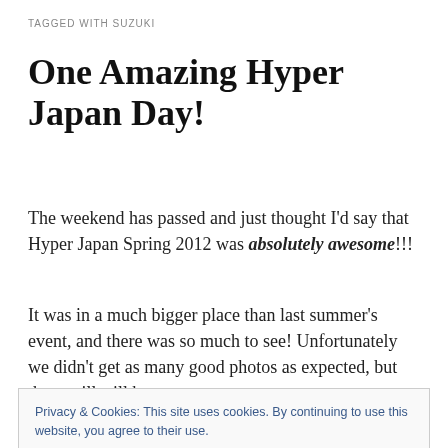TAGGED WITH SUZUKI
One Amazing Hyper Japan Day!
The weekend has passed and just thought I'd say that Hyper Japan Spring 2012 was absolutely awesome!!!
It was in a much bigger place than last summer's event, and there was so much to see! Unfortunately we didn't get as many good photos as expected, but there will still be
Privacy & Cookies: This site uses cookies. By continuing to use this website, you agree to their use.
To find out more, including how to control cookies, see here: Cookie Policy
throughout the day but it didn't). It resulted to carry on